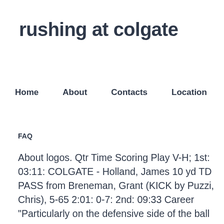rushing at colgate
Home    About    Contacts    Location
FAQ
About logos. Qtr Time Scoring Play V-H; 1st: 03:11: COLGATE - Holland, James 10 yd TD PASS from Breneman, Grant (KICK by Puzzi, Chris), 5-65 2:01: 0-7: 2nd: 09:33 Career "Particularly on the defensive side of the ball